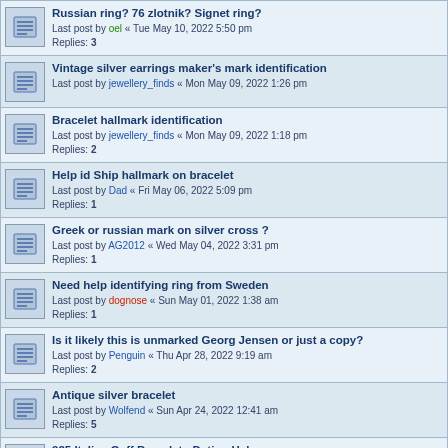Russian ring? 76 zlotnik? Signet ring?
Last post by oel « Tue May 10, 2022 5:50 pm
Replies: 3
Vintage silver earrings maker's mark identification
Last post by jewellery_finds « Mon May 09, 2022 1:26 pm
Bracelet hallmark identification
Last post by jewellery_finds « Mon May 09, 2022 1:18 pm
Replies: 2
Help id Ship hallmark on bracelet
Last post by Dad « Fri May 06, 2022 5:09 pm
Replies: 1
Greek or russian mark on silver cross ?
Last post by AG2012 « Wed May 04, 2022 3:31 pm
Replies: 1
Need help identifying ring from Sweden
Last post by dognose « Sun May 01, 2022 1:38 am
Replies: 1
Is it likely this is unmarked Georg Jensen or just a copy?
Last post by Penguin « Thu Apr 28, 2022 9:19 am
Replies: 2
Antique silver bracelet
Last post by Wolfend « Sun Apr 24, 2022 12:41 am
Replies: 5
925 Italian Cuff Bracelet - Dating Help
Last post by It's Silver Time « Sat Apr 23, 2022 12:04 pm
Replies: 2
pendant
Last post by amena « Mon Apr 18, 2022 12:53 pm
Replies: 4